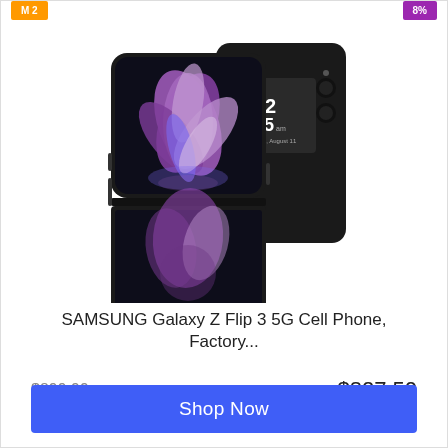[Figure (photo): Samsung Galaxy Z Flip 3 5G smartphone shown open (displaying purple flower wallpaper) and closed (showing clock display at 12:45), both in black color]
SAMSUNG Galaxy Z Flip 3 5G Cell Phone, Factory...
$899.99  $827.50
Shop Now